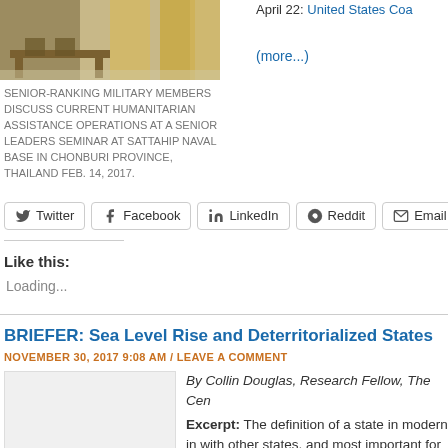[Figure (photo): Photo of senior-ranking military members at a table with golden curtains in the background, at Sattahip Naval Base]
SENIOR-RANKING MILITARY MEMBERS DISCUSS CURRENT HUMANITARIAN ASSISTANCE OPERATIONS AT A SENIOR LEADERS SEMINAR AT SATTAHIP NAVAL BASE IN CHONBURI PROVINCE, THAILAND FEB. 14, 2017.
April 22: United States Coa
(more...)
Twitter  Facebook  LinkedIn  Reddit  Email
Like this:
Loading...
BRIEFER: Sea Level Rise and Deterritorialized States
NOVEMBER 30, 2017 9:08 AM / LEAVE A COMMENT
[Figure (photo): Thumbnail image placeholder for the Sea Level Rise article]
By Collin Douglas, Research Fellow, The Cen
Excerpt: The definition of a state in modern in with other states, and most important for this c completely submerged, puts the territorial requ